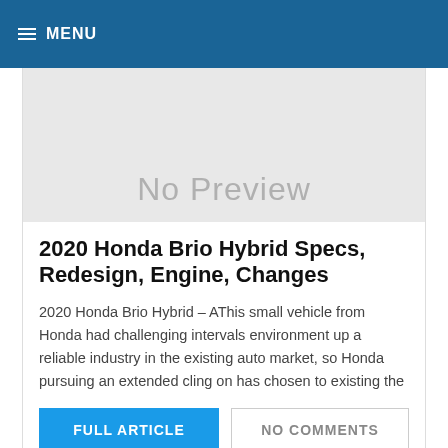MENU
[Figure (illustration): Gray placeholder image with 'No Preview' text]
2020 Honda Brio Hybrid Specs, Redesign, Engine, Changes
2020 Honda Brio Hybrid – AThis small vehicle from Honda had challenging intervals environment up a reliable industry in the existing auto market, so Honda pursuing an extended cling on has chosen to existing the
FULL ARTICLE
NO COMMENTS